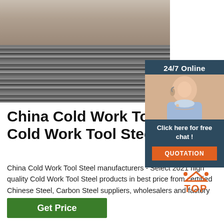[Figure (photo): Stack of cold work tool steel plates, gray metallic sheets viewed from the side showing layered stack]
[Figure (infographic): 24/7 Online chat overlay with a smiling female customer service representative wearing a headset, with 'Click here for free chat!' text and orange QUOTATION button]
China Cold Work Tool Steel, Cold Work Tool Steel ...
China Cold Work Tool Steel manufacturers - Select 2021 high quality Cold Work Tool Steel products in best price from certified Chinese Steel, Carbon Steel suppliers, wholesalers and factory on Made-in-China.com
[Figure (logo): TOP button with orange triangle and dots above the word TOP in orange]
Get Price